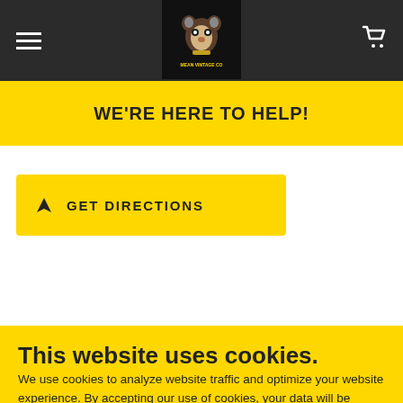Navigation bar with hamburger menu, logo, and cart icon
WE'RE HERE TO HELP!
GET DIRECTIONS
This website uses cookies.
We use cookies to analyze website traffic and optimize your website experience. By accepting our use of cookies, your data will be aggregated with all other user data.
ACCEPT